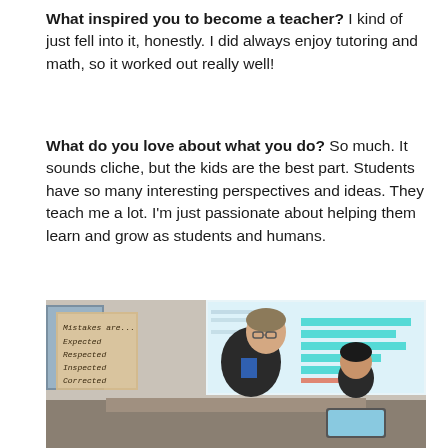What inspired you to become a teacher?  I kind of just fell into it, honestly.  I did always enjoy tutoring and math, so it worked out really well!
What do you love about what you do?  So much.  It sounds cliche, but the kids are the best part.  Students have so many interesting perspectives and ideas.  They teach me a lot. I'm just passionate about helping them learn and grow as students and humans.
[Figure (photo): Classroom photo showing a teacher leaning over to help a student at a desk. In the background is a smart board displaying a quiz/poll interface with colored bars. On the left wall hangs a sign reading 'Mistakes are... Expected Respected Inspected Corrected'.]